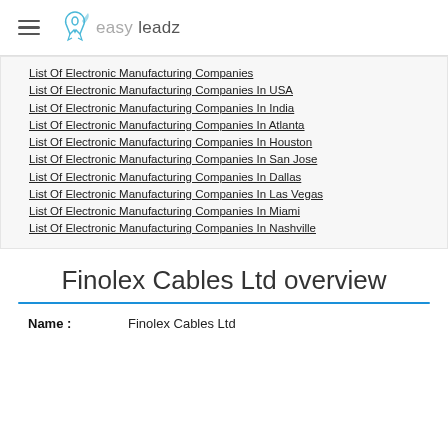easy leadz
List Of Electronic Manufacturing Companies
List Of Electronic Manufacturing Companies In USA
List Of Electronic Manufacturing Companies In India
List Of Electronic Manufacturing Companies In Atlanta
List Of Electronic Manufacturing Companies In Houston
List Of Electronic Manufacturing Companies In San Jose
List Of Electronic Manufacturing Companies In Dallas
List Of Electronic Manufacturing Companies In Las Vegas
List Of Electronic Manufacturing Companies In Miami
List Of Electronic Manufacturing Companies In Nashville
Finolex Cables Ltd overview
Name : Finolex Cables Ltd